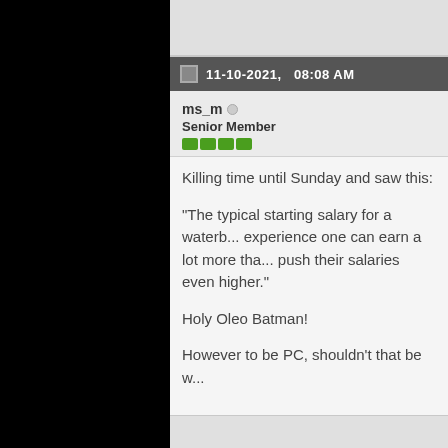11-10-2021,   08:08 AM
ms_m
Senior Member
Killing time until Sunday and saw this:

"The typical starting salary for a waterb... experience one can earn a lot more tha... push their salaries even higher."

Holy Oleo Batman!

However to be PC, shouldn't that be w...
11-10-2021,   10:12 AM
moe
Senior Member